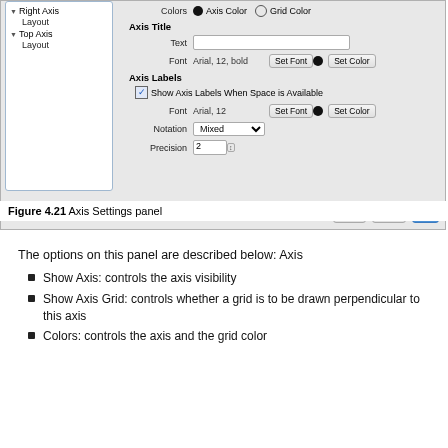[Figure (screenshot): Screenshot of Axis Settings panel dialog showing a tree panel on the left with Right Axis Layout and Top Axis Layout items, and settings on the right including Colors with Axis Color and Grid Color radio buttons, Axis Title section with Text input and Font (Arial, 12, bold) with Set Font and Set Color buttons, Axis Labels section with Show Axis Labels When Space is Available checkbox, Font (Arial, 12) with Set Font and Set Color buttons, Notation dropdown (Mixed), Precision spinner (2), and Apply/Reset/Ok buttons at the bottom.]
Figure 4.21 Axis Settings panel
The options on this panel are described below: Axis
Show Axis: controls the axis visibility
Show Axis Grid: controls whether a grid is to be drawn perpendicular to this axis
Colors: controls the axis and the grid color